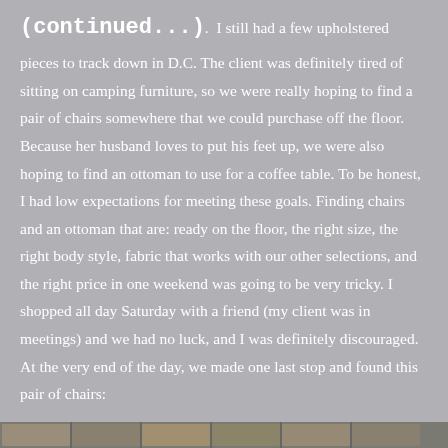(continued...).  I still had a few upholstered
pieces to track down in D.C. The client was definitely tired of sitting on camping furniture, so we were really hoping to find a pair of chairs somewhere that we could purchase off the floor. Because her husband loves to put his feet up, we were also hoping to find an ottoman to use for a coffee table. To be honest, I had low expectations for meeting these goals. Finding chairs and an ottoman that are: ready on the floor, the right size, the right body style, fabric that works with our other selections, and the right price in one weekend was going to be very tricky. I shopped all day Saturday with a friend (my client was in meetings) and we had no luck, and I was definitely discouraged. At the very end of the day, we made one last stop and found this pair of chairs:
[Figure (photo): Thumbnail strip of photos showing a pair of chairs at the bottom of the page]